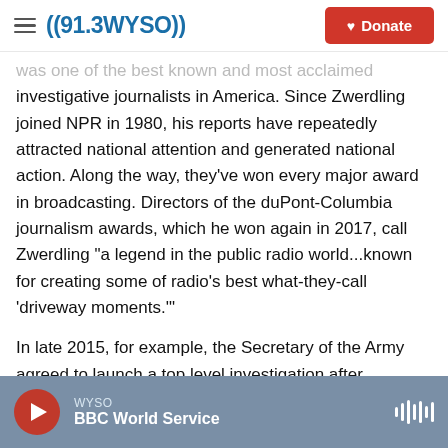((91.3WYSO)) | Donate
was one of the best known and most acclaimed investigative journalists in America. Since Zwerdling joined NPR in 1980, his reports have repeatedly attracted national attention and generated national action. Along the way, they've won every major award in broadcasting. Directors of the duPont-Columbia journalism awards, which he won again in 2017, call Zwerdling "a legend in the public radio world...known for creating some of radio's best what-they-call 'driveway moments.'"
In late 2015, for example, the Secretary of the Army agreed to launch a top level investigation after Zwerdling reported (in collaboration with Colorado Public Radio) that the Army has kicked out tens of thousands of troops after they came back from the wars with mental health problems or brain injuries. Early the same year,
WYSO | BBC World Service